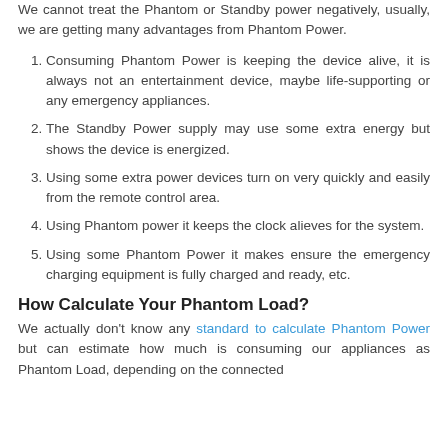We cannot treat the Phantom or Standby power negatively, usually, we are getting many advantages from Phantom Power.
Consuming Phantom Power is keeping the device alive, it is always not an entertainment device, maybe life-supporting or any emergency appliances.
The Standby Power supply may use some extra energy but shows the device is energized.
Using some extra power devices turn on very quickly and easily from the remote control area.
Using Phantom power it keeps the clock alieves for the system.
Using some Phantom Power it makes ensure the emergency charging equipment is fully charged and ready, etc.
How Calculate Your Phantom Load?
We actually don't know any standard to calculate Phantom Power but can estimate how much is consuming our appliances as Phantom Load, depending on the connected